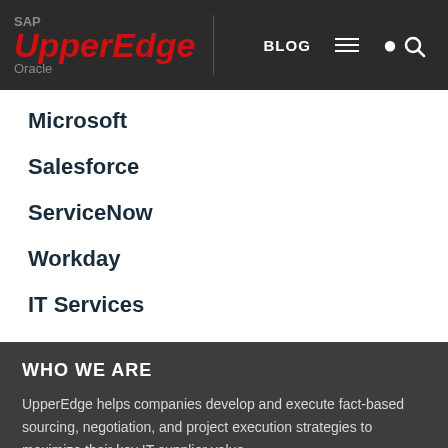SAP UpperEdge Oracle — BLOG
Microsoft
Salesforce
ServiceNow
Workday
IT Services
WHO WE ARE
UpperEdge helps companies develop and execute fact-based sourcing, negotiation, and project execution strategies to maximize their key IT supplier value.